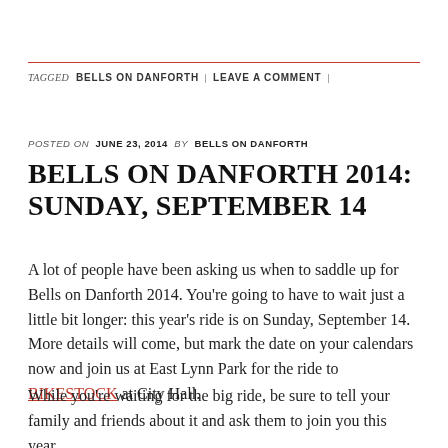TAGGED  BELLS ON DANFORTH  |  LEAVE A COMMENT  |
POSTED ON  JUNE 23, 2014  BY  BELLS ON DANFORTH
BELLS ON DANFORTH 2014: SUNDAY, SEPTEMBER 14
A lot of people have been asking us when to saddle up for Bells on Danforth 2014. You're going to have to wait just a little bit longer: this year's ride is on Sunday, September 14. More details will come, but mark the date on your calendars now and join us at East Lynn Park for the ride to BIKESTOCK at City Hall.
While you're waiting for the big ride, be sure to tell your family and friends about it and ask them to join you this year.